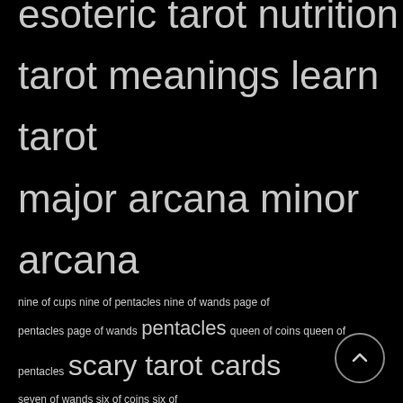esoteric tarot nutrition tarot meanings learn tarot major arcana minor arcana nine of cups nine of pentacles nine of wands page of pentacles page of wands pentacles queen of coins queen of pentacles scary tarot cards seven of wands six of coins six of pentacles six of wands society soul family strength tarot card suit of wands tarot aces tarot and astrology tarot card meanings tarot cards tarot career tarot court cards tarot elements tarot health